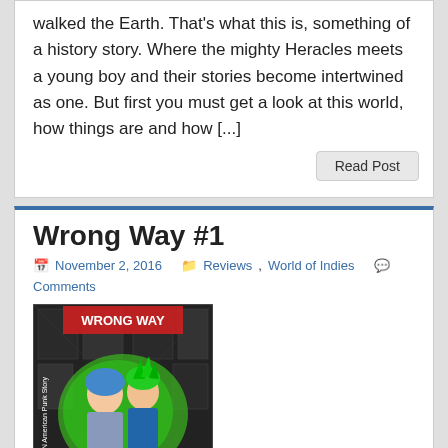walked the Earth. That's what this is, something of a history story. Where the mighty Heracles meets a young boy and their stories become intertwined as one. But first you must get a look at this world, how things are and how [...]
Read Post
Wrong Way #1
November 2, 2016   Reviews, World of Indies   Comments
[Figure (illustration): Comic book cover for Wrong Way #1 - An American Punk Story, showing two punk characters (a girl and a boy with green hair) against a collage background]
Sometimes being a reviewer I get to see projects that you wouldn't normally come across. Small self-published works that leave an impact on you as a reader. This is why I always advocate visiting these artists/creators in artist alley at any